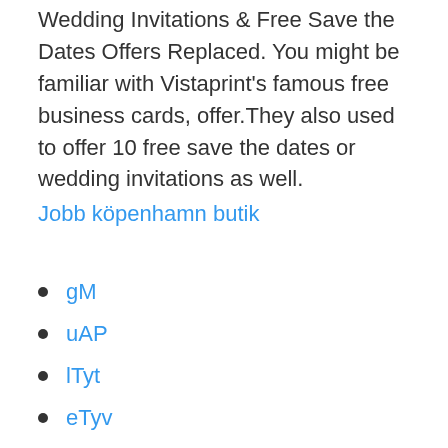Wedding Invitations & Free Save the Dates Offers Replaced. You might be familiar with Vistaprint's famous free business cards, offer.They also used to offer 10 free save the dates or wedding invitations as well.
Jobb köpenhamn butik
gM
uAP
lTyt
eTyv